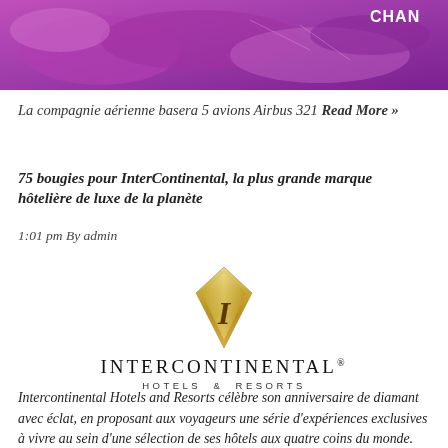[Figure (photo): Purple/magenta colored graphic with map-like shapes and the partial text 'CHAN' visible in the upper right corner]
La compagnie aérienne basera 5 avions Airbus 321 Read More »
75 bougies pour InterContinental, la plus grande marque hôtelière de luxe de la planète
1:01 pm By admin
[Figure (logo): InterContinental Hotels & Resorts logo — gold diamond-shaped emblem with letter I, text INTERCONTINENTAL. HOTELS & RESORTS]
Intercontinental Hotels and Resorts célèbre son anniversaire de diamant avec éclat, en proposant aux voyageurs une série d'expériences exclusives à vivre au sein d'une sélection de ses hôtels aux quatre coins du monde. Ainsi l'InterContinental London Park Lane et l'InterContinental Edinburgh The George invitent-ils par exemple, dans